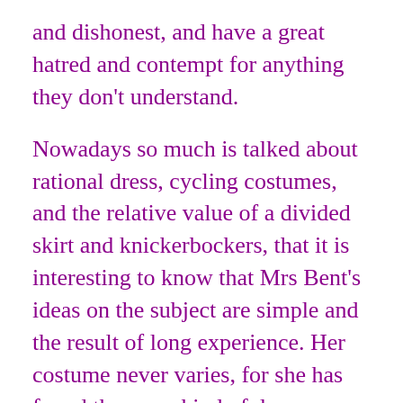and dishonest, and have a great hatred and contempt for anything they don't understand.
Nowadays so much is talked about rational dress, cycling costumes, and the relative value of a divided skirt and knickerbockers, that it is interesting to know that Mrs Bent's ideas on the subject are simple and the result of long experience. Her costume never varies, for she has found the same kind of dress equally useful in South Africa, Arabia, and the Isles of Greece. Her outfit, which is very pretty and even conventional, consists of a tweed coat and skirt coming down below the knees, breeches, gaiters, and stout shoes. The skirt is full, being pleated; and by a clever arrangement invented